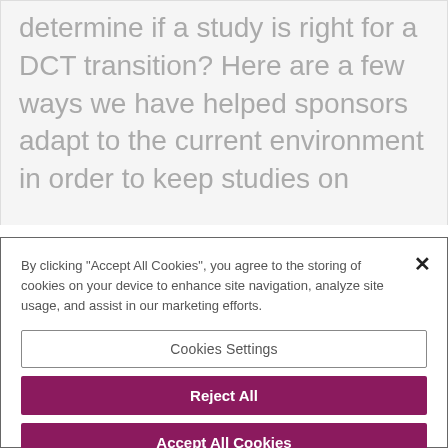determine if a study is right for a DCT transition? Here are a few ways we have helped sponsors adapt to the current environment in order to keep studies on
When you use our sites, PAREXEL will assign cookie files (“Cookies”) to you, which are a small amount of information we send to your web browser. Cookies enable the computers
By clicking “Accept All Cookies”, you agree to the storing of cookies on your device to enhance site navigation, analyze site usage, and assist in our marketing efforts.
Cookies Settings
Reject All
Accept All Cookies